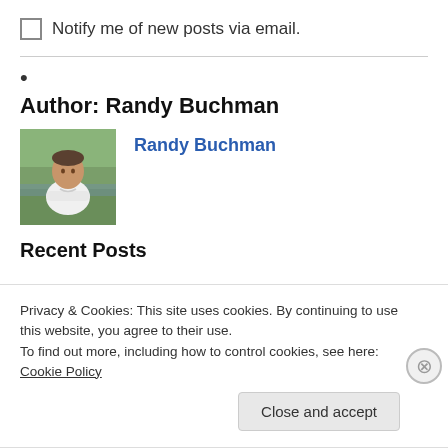Notify me of new posts via email.
•
Author: Randy Buchman
[Figure (photo): Profile photo of Randy Buchman, a man standing outdoors with arms crossed, wearing a white polo shirt, trees and water in background.]
Randy Buchman
Recent Posts
Privacy & Cookies: This site uses cookies. By continuing to use this website, you agree to their use.
To find out more, including how to control cookies, see here: Cookie Policy
Close and accept